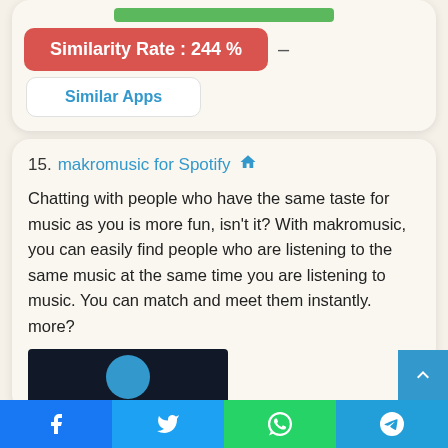[Figure (other): Green progress bar at top of card]
Similarity Rate : 244 %
Similar Apps
15. makromusic for Spotify
Chatting with people who have the same taste for music as you is more fun, isn't it? With makromusic, you can easily find people who are listening to the same music at the same time you are listening to music. You can match and meet them instantly. more?
[Figure (screenshot): Dark app screenshot thumbnail with blue circle logo]
Facebook | Twitter | WhatsApp | Telegram social share bar